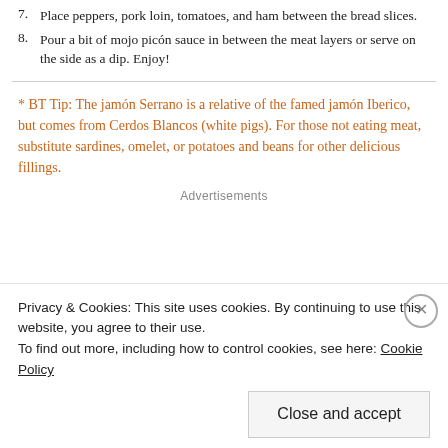7. Place peppers, pork loin, tomatoes, and ham between the bread slices.
8. Pour a bit of mojo picón sauce in between the meat layers or serve on the side as a dip. Enjoy!
* BT Tip: The jamón Serrano is a relative of the famed jamón Iberico, but comes from Cerdos Blancos (white pigs). For those not eating meat, substitute sardines, omelet, or potatoes and beans for other delicious fillings.
Advertisements
Privacy & Cookies: This site uses cookies. By continuing to use this website, you agree to their use.
To find out more, including how to control cookies, see here: Cookie Policy
Close and accept